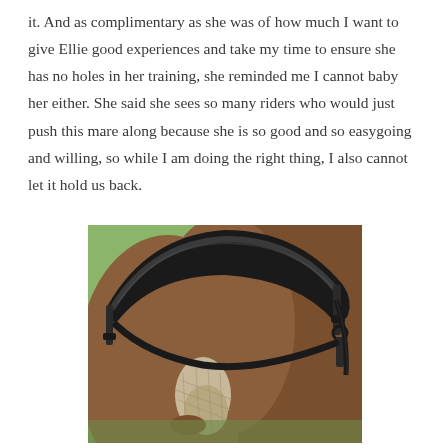it.  And as complimentary as she was of how much I want to give Ellie good experiences and take my time to ensure she has no holes in her training, she reminded me I cannot baby her either.  She said she sees so many riders who would just push this mare along because she is so good and so easygoing and willing, so while I am doing the right thing, I also cannot let it hold us back.
[Figure (photo): Close-up photograph of a horse's face from above, showing a dark leather bridle/noseband with padded browband across the horse's nose. The horse has a chestnut/bay coat with a white blaze on the nose. Green grass is visible in the background.]